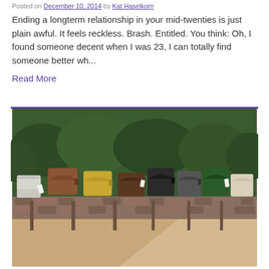Posted on December 10, 2014 by Kat Haselkorn
Ending a longterm relationship in your mid-twenties is just plain awful. It feels reckless. Brash. Entitled. You think: Oh, I found someone decent when I was 23, I can totally find someone better wh...
Read More
[Figure (photo): Row of colorful mailboxes on a stone wall ledge with a green hedge in the background]